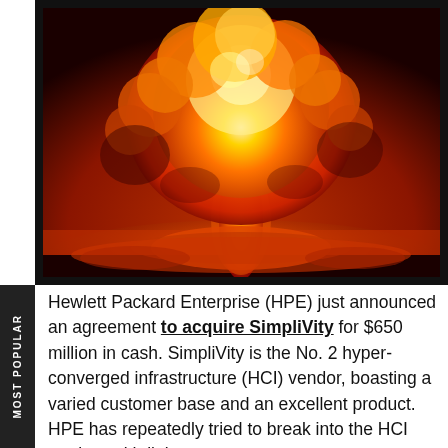[Figure (photo): A large fiery nuclear explosion mushroom cloud with vivid orange, red, and yellow flames against a dark sky with orange-tinged horizon.]
Hewlett Packard Enterprise (HPE) just announced an agreement to acquire SimpliVity for $650 million in cash. SimpliVity is the No. 2 hyper-converged infrastructure (HCI) vendor, boasting a varied customer base and an excellent product. HPE has repeatedly tried to break into the HCI market, with little success.